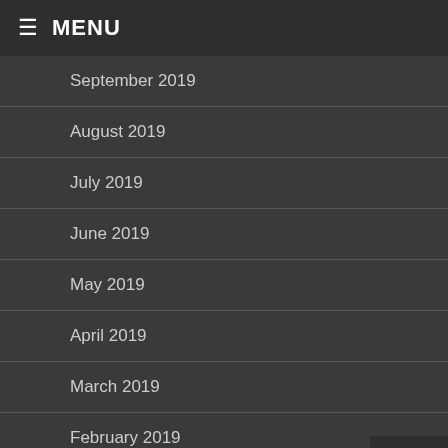MENU
September 2019
August 2019
July 2019
June 2019
May 2019
April 2019
March 2019
February 2019
January 2019
December 2018